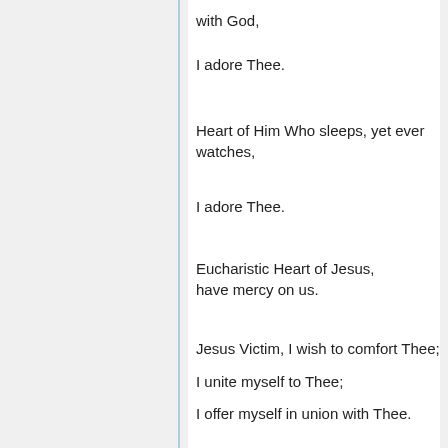with God,
I adore Thee.
Heart of Him Who sleeps, yet ever watches,
I adore Thee.
Eucharistic Heart of Jesus, have mercy on us.
Jesus Victim, I wish to comfort Thee;
I unite myself to Thee;
I offer myself in union with Thee.
I count myself as nothing before Thee;
I desire to forget myself in order to think of Thee,